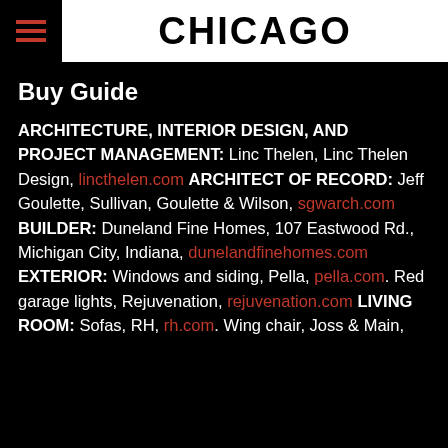CHICAGO
Buy Guide
ARCHITECTURE, INTERIOR DESIGN, AND PROJECT MANAGEMENT: Linc Thelen, Linc Thelen Design, lincthelen.com ARCHITECT OF RECORD: Jeff Goulette, Sullivan, Goulette & Wilson, sgwarch.com BUILDER: Duneland Fine Homes, 107 Eastwood Rd., Michigan City, Indiana, dunelandfinehomes.com EXTERIOR: Windows and siding, Pella, pella.com. Red garage lights, Rejuvenation, rejuvenation.com LIVING ROOM: Sofas, RH, rh.com. Wing chair, Joss & Main,